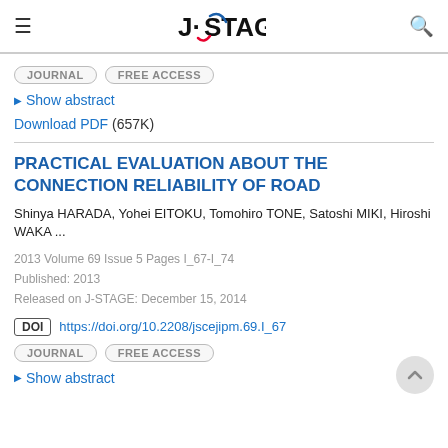J-STAGE
JOURNAL  FREE ACCESS
Show abstract
Download PDF (657K)
PRACTICAL EVALUATION ABOUT THE CONNECTION RELIABILITY OF ROAD
Shinya HARADA, Yohei EITOKU, Tomohiro TONE, Satoshi MIKI, Hiroshi WAKA ...
2013 Volume 69 Issue 5 Pages I_67-I_74
Published: 2013
Released on J-STAGE: December 15, 2014
DOI https://doi.org/10.2208/jscejipm.69.I_67
JOURNAL  FREE ACCESS
Show abstract